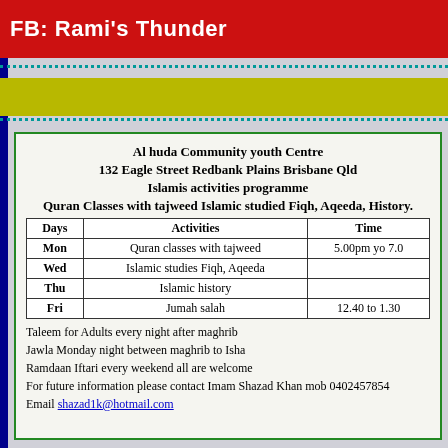FB: Rami's Thunder
Al huda Community youth Centre
132 Eagle Street Redbank Plains Brisbane Qld
Islamis activities programme
Quran Classes with tajweed Islamic studied Fiqh, Aqeeda, History.
| Days | Activities | Time |
| --- | --- | --- |
| Mon | Quran classes with tajweed | 5.00pm yo 7.0 |
| Wed | Islamic studies Fiqh, Aqeeda |  |
| Thu | Islamic history |  |
| Fri | Jumah salah | 12.40 to 1.30 |
Taleem for Adults every night after maghrib
Jawla Monday night  between maghrib to Isha
Ramdaan Iftari every weekend all are welcome
For future information please contact Imam Shazad Khan  mob  0402457854
Email shazad1k@hotmail.com